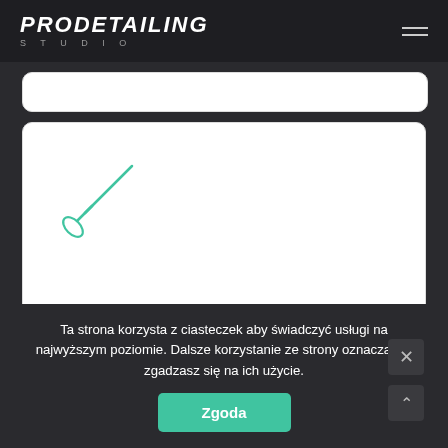PRODETAILING STUDIO
[Figure (screenshot): White rounded rectangle input/form box, partially visible at top]
[Figure (illustration): White rounded rectangle box with a teal/green paintbrush icon in the upper-left area]
Ta strona korzysta z ciasteczek aby świadczyć usługi na najwyższym poziomie. Dalsze korzystanie ze strony oznacza, że zgadzasz się na ich użycie.
Zgoda